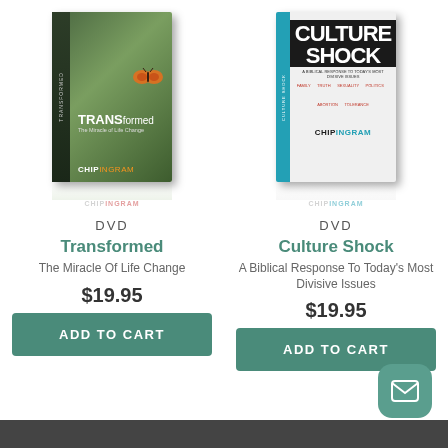[Figure (photo): DVD box of 'Transformed: The Miracle of Life Change' by Chip Ingram, with green nature background and butterfly]
DVD
Transformed
The Miracle Of Life Change
$19.95
ADD TO CART
[Figure (photo): DVD box of 'Culture Shock: A Biblical Response To Today's Most Divisive Issues' by Chip Ingram, black and white cover with red text]
DVD
Culture Shock
A Biblical Response To Today's Most Divisive Issues
$19.95
ADD TO CART